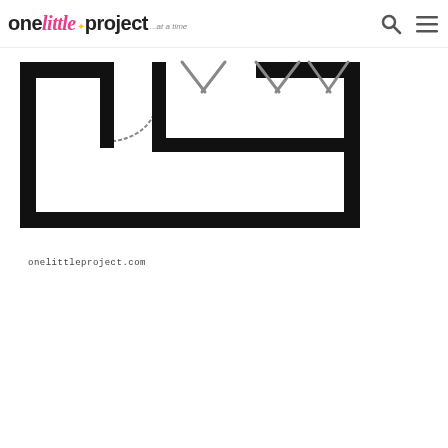one little project ...at a time
[Figure (schematic): Floor plan schematic showing a room layout with thick black walls, a door arc indicating a swinging door on the left side, and three pairs of diagonal lines at the top indicating windows or closet openings.]
onelittleproject.com